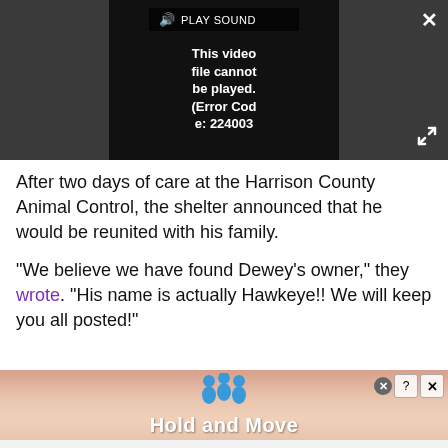[Figure (screenshot): Video player showing error message 'This video file cannot be played. (Error Code: 224003)' with dark background, Play Sound button, close X button, and expand/fullscreen button.]
After two days of care at the Harrison County Animal Control, the shelter announced that he would be reunited with his family.
“We believe we have found Dewey’s owner,” they wrote. “His name is actually Hawkeye!! We will keep you all posted!”
[Figure (screenshot): Advertisement banner showing blue person figures and text 'Hold and Move' on a striped background with close and question mark buttons.]